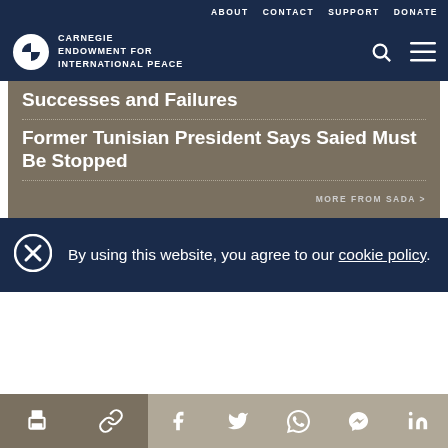ABOUT  CONTACT  SUPPORT  DONATE
[Figure (logo): Carnegie Endowment for International Peace logo with navigation icons (search and menu)]
Successes and Failures
Former Tunisian President Says Saied Must Be Stopped
MORE FROM SADA >
By using this website, you agree to our cookie policy.
[Figure (infographic): Social sharing bar with print, link, Facebook, Twitter, WhatsApp, Messenger, and LinkedIn icons]